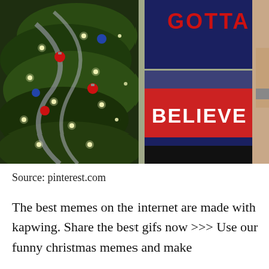[Figure (photo): Photo of a person wearing an ugly Christmas sweater with 'GOTTA BELIEVE' text, standing next to a decorated Christmas tree with lights and ornaments. Background appears to be an indoor setting.]
Source: pinterest.com
The best memes on the internet are made with kapwing. Share the best gifs now >>> Use our funny christmas memes and make